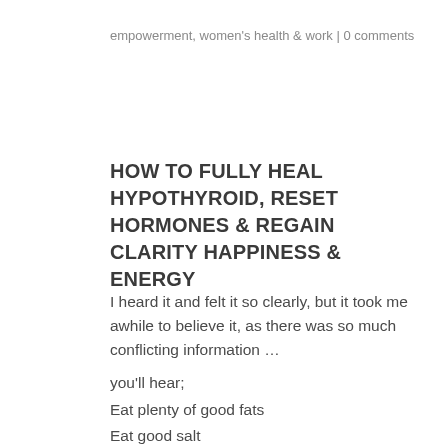empowerment, women's health & work | 0 comments
HOW TO FULLY HEAL HYPOTHYROID, RESET HORMONES & REGAIN CLARITY HAPPINESS & ENERGY
I heard it and felt it so clearly, but it took me awhile to believe it, as there was so much conflicting information …
you'll hear;
Eat plenty of good fats
Eat good salt
You need plenty of iodine